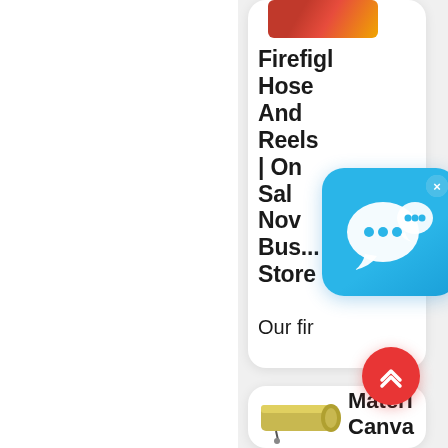[Figure (screenshot): Website sidebar showing two product cards. First card shows a partially visible product image at top, then a bold title 'Firefighting Hose And Reels | On Sale Now | Business Store' with text 'Our fir...' partially visible. A chat widget (blue rounded square with speech bubble icon and X close button) overlays the card. Second card shows an image of a rolled canvas/material product and the beginning of a title 'Material Canva...' A red scroll-to-top button with double chevron up arrows appears between/over the cards.]